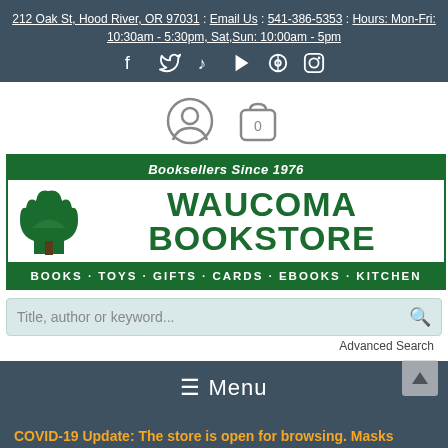212 Oak St, Hood River, OR 97031 : Email Us : 541-386-5353 : Hours: Mon-Fri: 10:30am - 5:30pm, Sat,Sun: 10:00am - 5pm
[Figure (infographic): Social media icons: Facebook, Twitter, TikTok, YouTube, Pinterest, Instagram]
[Figure (infographic): User account icon and shopping bag icon with 0 badge]
[Figure (logo): Waucoma Bookstore logo - Booksellers Since 1976, with tree illustration, green banner reading BOOKS · TOYS · GIFTS · CARDS · EBOOKS · KITCHEN]
Title, author or keyword...
Advanced Search
≡ Menu
COVID-19 Update: The store is open for browsing. Masks